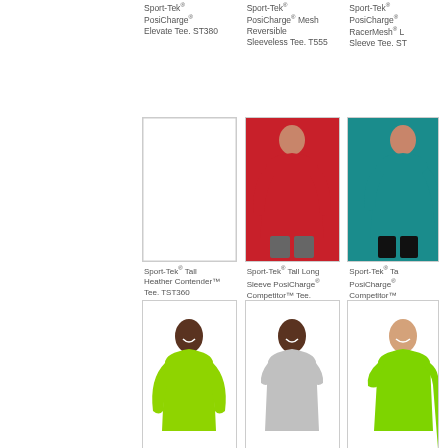Sport-Tek® PosiCharge® Elevate Tee. ST380
Sport-Tek® PosiCharge® Mesh Reversible Sleeveless Tee. T555
Sport-Tek® PosiCharge® RacerMesh® Long Sleeve Tee. ST
[Figure (photo): Empty product image placeholder box for Sport-Tek Tall Heather Contender Tee TST360]
Sport-Tek® Tall Heather Contender™ Tee. TST360
[Figure (photo): Man wearing red long sleeve Sport-Tek Tall Long Sleeve PosiCharge Competitor Tee TST350LS]
Sport-Tek® Tall Long Sleeve PosiCharge® Competitor™ Tee. TST350LS
[Figure (photo): Man wearing teal Sport-Tek Tall PosiCharge Competitor Tee TST350]
Sport-Tek® Tall PosiCharge® Competitor™ TST350
[Figure (photo): Youth boy wearing lime green long sleeve Sport-Tek shirt]
[Figure (photo): Youth boy wearing grey Sport-Tek shirt]
[Figure (photo): Youth in lime green Sport-Tek shirt, partially visible]